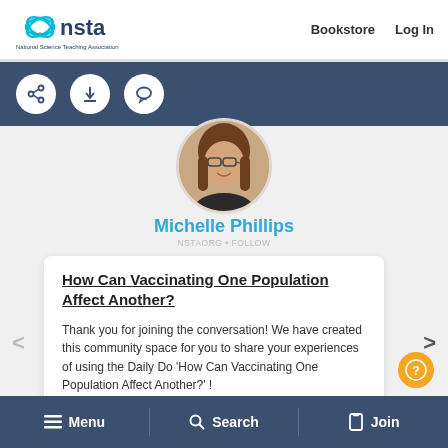[Figure (logo): NSTA National Science Teaching Association logo with cyan atom icon and dark blue text]
Bookstore   Log In
[Figure (infographic): Dark blue toolbar with three circular white icon buttons: share, download, and comment]
[Figure (photo): Circular profile photo of Michelle Phillips, a woman with glasses and long brown hair, smiling]
Michelle Phillips
How Can Vaccinating One Population Affect Another?
Thank you for joining the conversation! We have created this community space for you to share your experiences of using the Daily Do 'How Can Vaccinating One Population Affect Another?' !
Menu   Search   Join